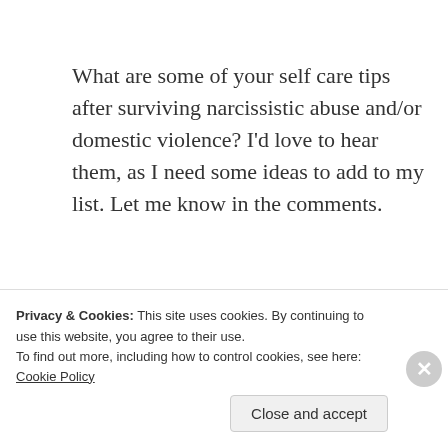What are some of your self care tips after surviving narcissistic abuse and/or domestic violence? I'd love to hear them, as I need some ideas to add to my list. Let me know in the comments.
Advertisements
Privacy & Cookies: This site uses cookies. By continuing to use this website, you agree to their use.
To find out more, including how to control cookies, see here: Cookie Policy